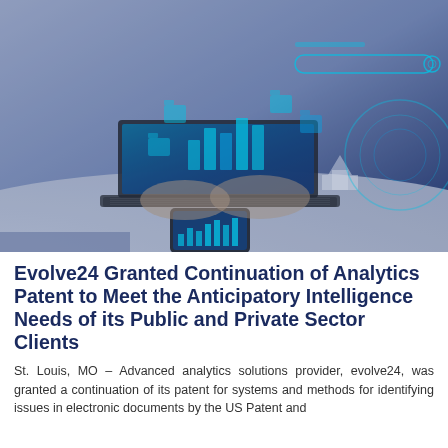[Figure (photo): Person typing on a laptop with digital data analytics holographic interface overlaid, showing bar charts, folder icons, search bars, and arrows in cyan/blue tones against a dark blue-toned background.]
Evolve24 Granted Continuation of Analytics Patent to Meet the Anticipatory Intelligence Needs of its Public and Private Sector Clients
St. Louis, MO – Advanced analytics solutions provider, evolve24, was granted a continuation of its patent for systems and methods for identifying issues in electronic documents by the US Patent and